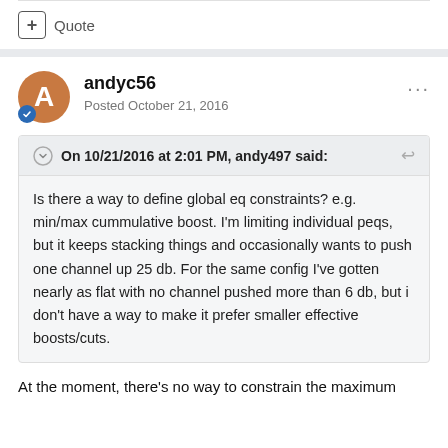+ Quote
andyc56
Posted October 21, 2016
On 10/21/2016 at 2:01 PM, andy497 said:
Is there a way to define global eq constraints? e.g. min/max cummulative boost. I'm limiting individual peqs, but it keeps stacking things and occasionally wants to push one channel up 25 db. For the same config I've gotten nearly as flat with no channel pushed more than 6 db, but i don't have a way to make it prefer smaller effective boosts/cuts.
At the moment, there's no way to constrain the maximum